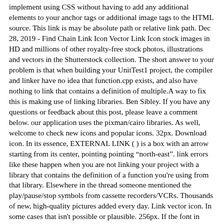implement using CSS without having to add any additional elements to your anchor tags or additional image tags to the HTML source. This link is may be absolute path or relative link path. Dec 28, 2019 - Find Chain Link Icon Vector Link Icon stock images in HD and millions of other royalty-free stock photos, illustrations and vectors in the Shutterstock collection. The short answer to your problem is that when building your UnitTest1 project, the compiler and linker have no idea that function.cpp exists, and also have nothing to link that contains a definition of multiple.A way to fix this is making use of linking libraries. Ben Sibley. If you have any questions or feedback about this post, please leave a comment below. our application uses the pixman/cairo libraries. As well, welcome to check new icons and popular icons. 32px. Download icon. In its essence, EXTERNAL LINK ( ) is a box with an arrow starting from its center, pointing pointing “north-east”. link errors like these happen when you are not linking your project with a library that contains the definition of a function you're using from that library. Elsewhere in the thread someone mentioned the play/pause/stop symbols from cassette recorders/VCRs. Thousands of new, high-quality pictures added every day. Link vector icon. In some cases that isn't possible or plausible. 256px. If the font in which this web site is displayed does not contain the symbol and there is no fallback font able to render it, you can use the image below to get an idea of what it should look like. Link vector icon. I downloaded and compiled pixman/cairo (Release, x64, static .lib, Intel C++ 16.0, inside VS 2013, on Windows 7, 64). Laurent,